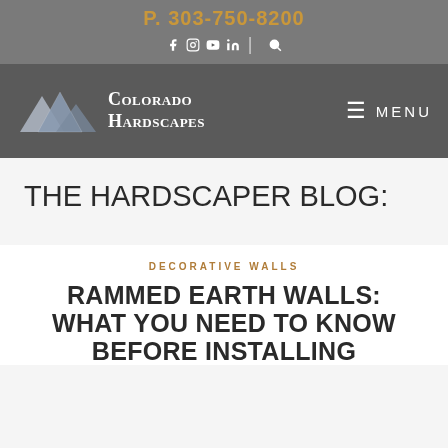P. 303-750-8200
[Figure (logo): Colorado Hardscapes logo with mountain graphic and company name in white serif text]
≡ MENU
THE HARDSCAPER BLOG:
DECORATIVE WALLS
RAMMED EARTH WALLS: WHAT YOU NEED TO KNOW BEFORE INSTALLING